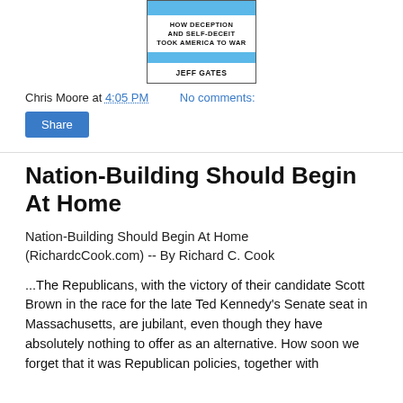[Figure (illustration): Book cover for a book about deception and self-deceit, with blue and white stripes, subtitle 'How Deception and Self-Deceit Took America to War', author Jeff Gates]
Chris Moore at 4:05 PM    No comments:
Share
Nation-Building Should Begin At Home
Nation-Building Should Begin At Home (RichardcCook.com) -- By Richard C. Cook
...The Republicans, with the victory of their candidate Scott Brown in the race for the late Ted Kennedy's Senate seat in Massachusetts, are jubilant, even though they have absolutely nothing to offer as an alternative. How soon we forget that it was Republican policies, together with...